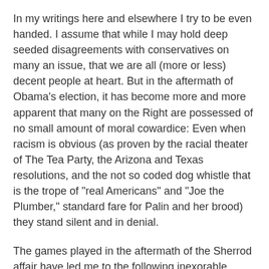In my writings here and elsewhere I try to be even handed. I assume that while I may hold deep seeded disagreements with conservatives on many an issue, that we are all (more or less) decent people at heart. But in the aftermath of Obama's election, it has become more and more apparent that many on the Right are possessed of no small amount of moral cowardice: Even when racism is obvious (as proven by the racial theater of The Tea Party, the Arizona and Texas resolutions, and the not so coded dog whistle that is the trope of "real Americans" and "Joe the Plumber," standard fare for Palin and her brood) they stand silent and in denial.
The games played in the aftermath of the Sherrod affair have led me to the following inexorable conclusion, one that is motivated by an adherence to parsimony in my reasoning, and the b.s. test famously called Occam's razor. In total, the New Right is threatened on an existential level by the fact that a black man had the unmitigated gall to run for President and that he won.
These folks (as typified by the Jeffrey Lord's, Pat Buchanan's, Rush Limbaugh's, Bill O'Reilly's and Glenn